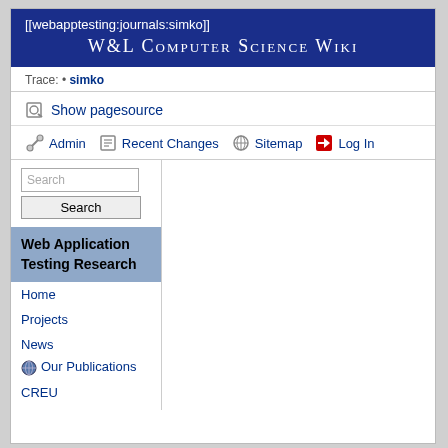[[webapptesting:journals:simko]]
W&L Computer Science Wiki
Trace: • simko
Show pagesource
Admin   Recent Changes   Sitemap   Log In
Web Application Testing Research
Home
Projects
News
Our Publications
CREU
Project